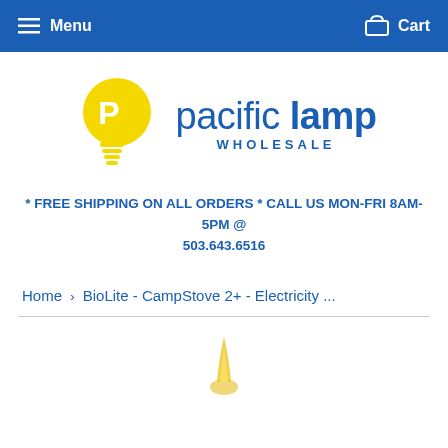Menu   Cart
[Figure (logo): Pacific Lamp Wholesale logo — yellow lightbulb with white P, text 'pacific lamp WHOLESALE' in dark blue]
* FREE SHIPPING ON ALL ORDERS * CALL US MON-FRI 8AM-5PM @ 503.643.6516
Home › BioLite - CampStove 2+ - Electricity ...
[Figure (photo): Partial view of a product (yellowish flame or product image) at the bottom of the page]